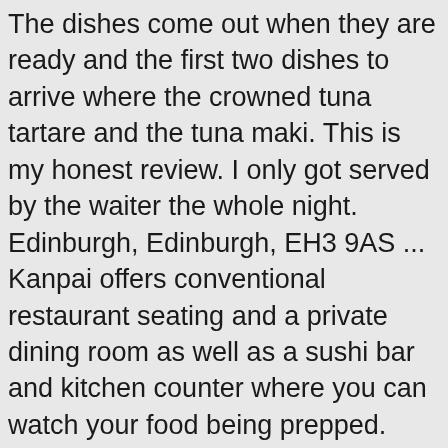The dishes come out when they are ready and the first two dishes to arrive where the crowned tuna tartare and the tuna maki. This is my honest review. I only got served by the waiter the whole night. Edinburgh, Edinburgh, EH3 9AS ... Kanpai offers conventional restaurant seating and a private dining room as well as a sushi bar and kitchen counter where you can watch your food being prepped. 4593 Washington Ave. Evansville, IN | 812-471-7076 | Monday – Saturday : 11AM – 9PM Sunday: Closed. 864-234-0334. Kanpai Japanese Resturant offers traditional and innovative Japanese cuisine - Come dine with us or order to go! Kanpai- Chatham Parkway: 2 Park of Commerce Blvd Savannah, GA 31405 . Kanpai Sushi's most recent awards and features include: Newcomer of The year in the Scottish Restaurant Awards 2012, One AA rosette 2012-2020, Recommended in the Michelin Guide 2014-2019, The List, Hitlist 2014 - 2018, Featured in